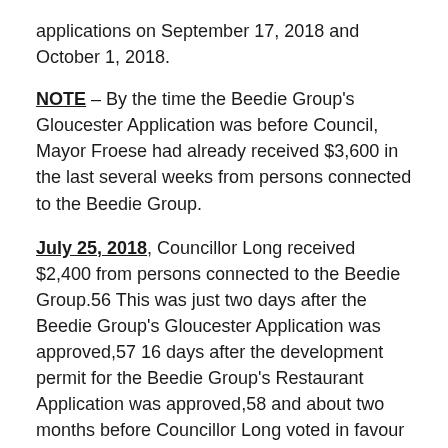applications on September 17, 2018 and October 1, 2018.
NOTE – By the time the Beedie Group's Gloucester Application was before Council, Mayor Froese had already received $3,600 in the last several weeks from persons connected to the Beedie Group.
July 25, 2018, Councillor Long received $2,400 from persons connected to the Beedie Group.56 This was just two days after the Beedie Group's Gloucester Application was approved,57 16 days after the development permit for the Beedie Group's Restaurant Application was approved,58 and about two months before Councillor Long voted in favour of another two of the Beedie Group's developments on September 17, 2018 and October 1, 2018.